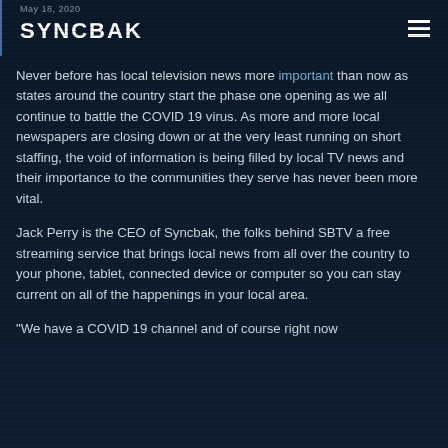May 18, 2020 | SYNCBAK
Never before has local television news more important than now as states around the country start the phase one opening as we all continue to battle the COVID 19 virus. As more and more local newspapers are closing down or at the very least running on short staffing, the void of information is being filled by local TV news and their importance to the communities they serve has never been more vital.
Jack Perry is the CEO of Syncbak, the folks behind SBTV a free streaming service that brings local news from all over the country to your phone, tablet, connected device or computer so you can stay current on all of the happenings in your local area.
"We have a COVID 19 channel and of course right now